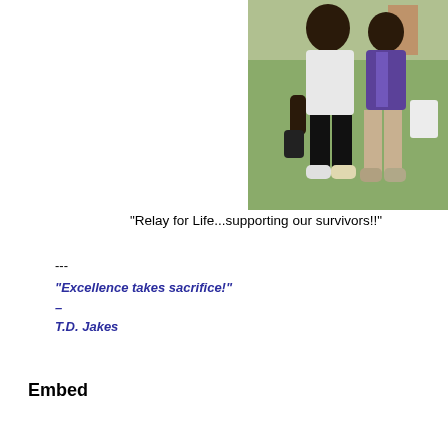[Figure (photo): Two people posing together outdoors on grass — one wearing a white t-shirt and black pants, another wearing a purple shirt. Appears to be a Relay for Life event.]
"Relay for Life...supporting our survivors!!"
---
"Excellence takes sacrifice!"
–
T.D. Jakes
Embed